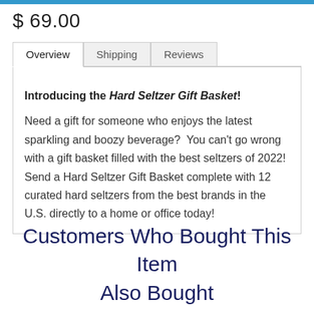$ 69.00
Introducing the Hard Seltzer Gift Basket!

Need a gift for someone who enjoys the latest sparkling and boozy beverage?  You can't go wrong with a gift basket filled with the best seltzers of 2022! Send a Hard Seltzer Gift Basket complete with 12 curated hard seltzers from the best brands in the U.S. directly to a home or office today!
Customers Who Bought This Item Also Bought